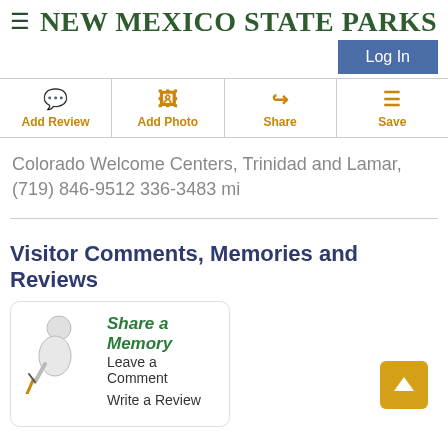NEW MEXICO STATE PARKS
Log In
Add Review | Add Photo | Share | Save
Colorado Welcome Centers, Trinidad and Lamar, (719) 846-9512 336-3483 mi
Visitor Comments, Memories and Reviews
Share a Memory
Leave a Comment
Write a Review